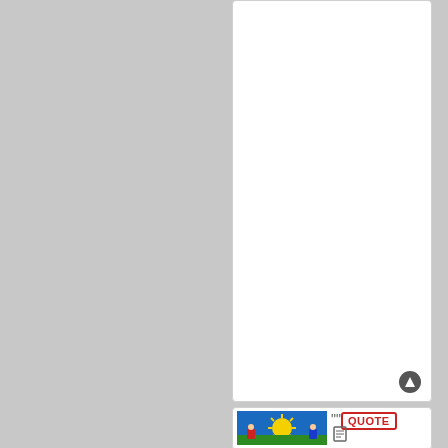sta for an ext mo at lea OC (by the wa ho i'm doi this me righ its my firs rep
[Figure (screenshot): Colorful illustration thumbnail showing a sun and figures, used as a quote image in a forum post. Next to it is a QUOTE button with red border.]